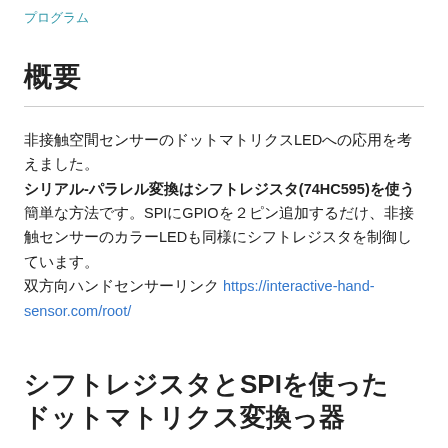プログラム
概要
非接触空間センサーのドットマトリクスLEDへの応用を考えました。シリアル-パラレル変換はシフトレジスタ(74HC595)を使う簡単な方法です。SPIにGPIOを２ピン追加するだけ、非接触センサーのカラーLEDも同様にシフトレジスタを制御しています。双方向ハンドセンサーリンク https://interactive-hand-sensor.com/root/
シフトレジスタとSPIを使った